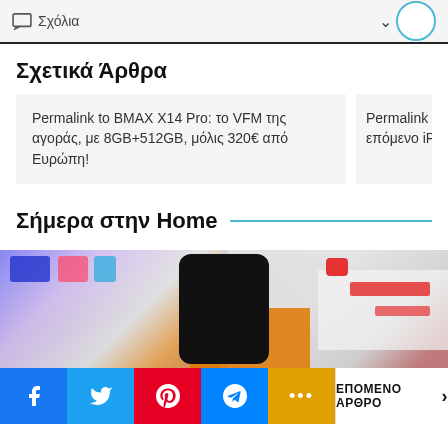Σχόλια
Σχετικά Άρθρα
Permalink to BMAX X14 Pro: το VFM της αγοράς, με 8GB+512GB, μόλις 320€ από Ευρώπη!
Permalink to iP επόμενο iPhon
Σήμερα στην Home
[Figure (photo): Blurred photo of a smartphone (dark phone silhouette) with colorful blurred background showing orange and white elements]
ΕΠΟΜΕΝΟ ΑΡΘΡΟ